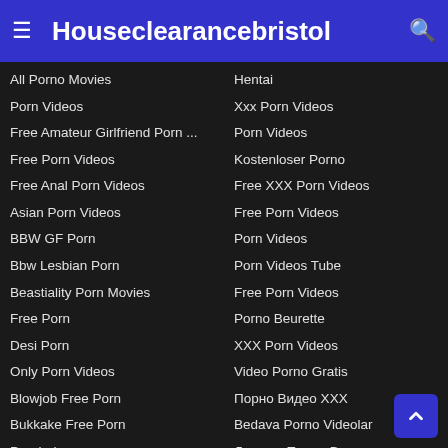Houseclearancebristol
All Porno Movies
Porn Videos
Free Amateur Girlfriend Porn ...
Free Porn Videos
Free Anal Porn Videos
Asian Porn Videos
BBW GF Porn
Bbw Lesbian Porn
Beastiality Porn Movies
Free Porn
Desi Porn
Only Porn Videos
Blowjob Free Porn
Bukkake Free Porn
Pornhub
Chubby Free Porn
Clit Licking Lesbian Porn
Cosplay Free Porn Videos
Creampie Porn Tube
Cumshot Free Porn
Hentai
Xxx Porn Videos
Porn Videos
Kostenloser Porno
Free XXX Porn Videos
Free Porn Videos
Porn Videos
Porn Videos Tube
Free Porn Videos
Porno Beurette
XXX Porn Videos
Video Porno Gratis
Порно Видео XXX
Bedava Porno Videolar
Лучшие Порно Видео
Videos Porno Gratis
Porn Tube
Porn Videos
Hentai Porn Videos
Порно Видео Онлайн